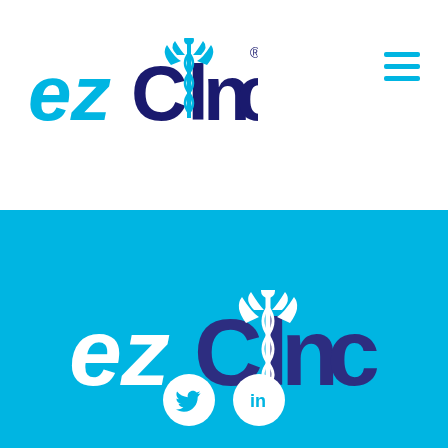[Figure (logo): ezClinic logo in header: 'ez' in cyan italic, 'Clinic' in dark navy blue with a caduceus symbol replacing the 'i', registered trademark symbol, on white background]
[Figure (logo): Hamburger menu icon (three horizontal cyan lines) in top right corner]
[Figure (logo): ezClinic logo centered on cyan/blue background footer: 'ez' in white italic, 'Clinic' in dark navy with white caduceus symbol replacing the 'i']
[Figure (logo): Social media icons: Twitter bird and LinkedIn 'in' icons in white circles on cyan background]